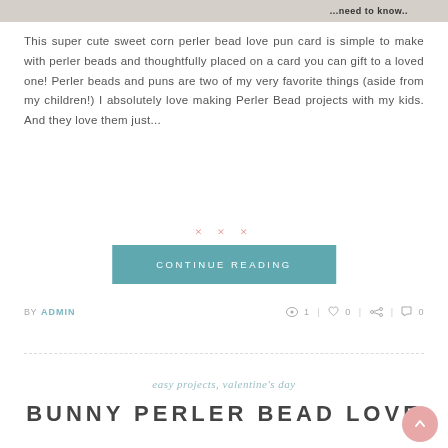[Figure (photo): Partial top image strip showing a card/craft project with text '...need to know..']
This super cute sweet corn perler bead love pun card is simple to make with perler beads and thoughtfully placed on a card you can gift to a loved one! Perler beads and puns are two of my very favorite things (aside from my children!) I absolutely love making Perler Bead projects with my kids. And they love them just...
× × ×
CONTINUE READING
BY ADMIN  1 | 0 | | 0
easy projects, valentine's day
BUNNY PERLER BEAD LOVE